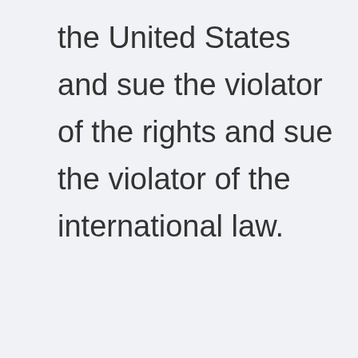the United States and sue the violator of the rights and sue the violator of the international law.